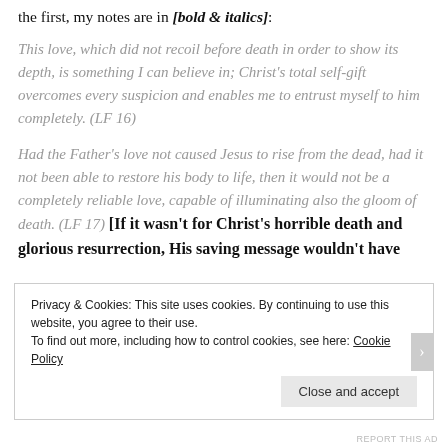the first, my notes are in [bold & italics]:
This love, which did not recoil before death in order to show its depth, is something I can believe in; Christ's total self-gift overcomes every suspicion and enables me to entrust myself to him completely.  (LF 16)
Had the Father's love not caused Jesus to rise from the dead, had it not been able to restore his body to life, then it would not be a completely reliable love, capable of illuminating also the gloom of death.  (LF 17)  [If it wasn't for Christ's horrible death and glorious resurrection, His saving message wouldn't have
Privacy & Cookies: This site uses cookies. By continuing to use this website, you agree to their use.
To find out more, including how to control cookies, see here: Cookie Policy
Close and accept